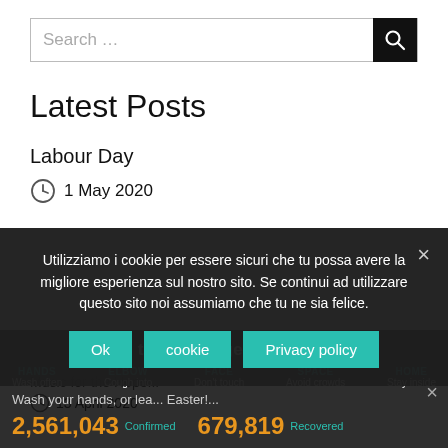Search ...
Latest Posts
Labour Day
1 May 2020
Utilizziamo i cookie per essere sicuri che tu possa avere la migliore esperienza sul nostro sito. Se continui ad utilizzare questo sito noi assumiamo che tu ne sia felice.
Ok | cookie | Privacy policy
[Figure (infographic): COVID-19 virus awareness bar: Spread the message. Stop the virus. HANDS Wash often | ELBOW Cough into | FACE Don't touch | SPACE Avoid crowds | HOME Stay inside. Stats: 2,561,043 Confirmed, 679,819 Recovered.]